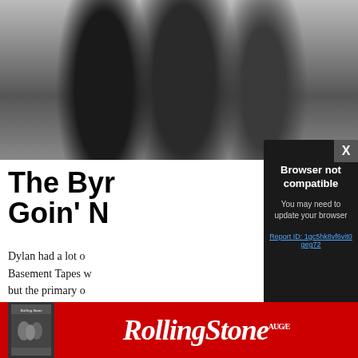[Figure (photo): Black and white photograph of multiple people (appears to be a music group) standing together, cropped at torso/waist level]
The Byr… Goin’ N…
Dylan had a lot o… Basement Tapes w… but the primary o… could cover. One … a Basement Tape…
[Figure (screenshot): Browser error modal overlay on dark background with close X button. Title: 'Browser not compatible'. Subtitle: 'You may need to update your browser'. Link: 'Report ID: 1gc5hk8vf6vit0geg72']
[Figure (logo): Rolling Stone magazine advertisement banner — red background, magazine thumbnail on left, Rolling Stone logo in white italic serif font on right]